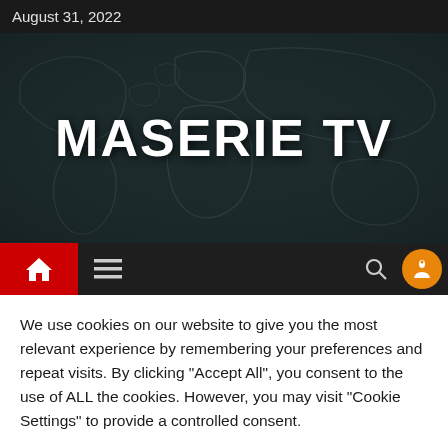August 31, 2022
[Figure (screenshot): MASERIE TV website banner with dark world map background and large white bold text 'MASERIE TV']
[Figure (screenshot): Navigation bar with red home icon button, hamburger menu, search icon, and orange profile circle button]
We use cookies on our website to give you the most relevant experience by remembering your preferences and repeat visits. By clicking "Accept All", you consent to the use of ALL the cookies. However, you may visit "Cookie Settings" to provide a controlled consent.
Cookie Settings | Accept All